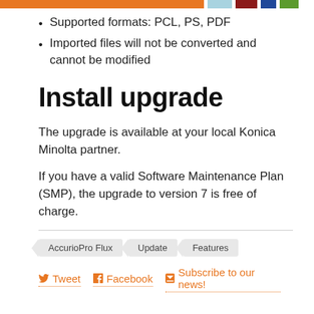Supported formats: PCL, PS, PDF
Imported files will not be converted and cannot be modified
Install upgrade
The upgrade is available at your local Konica Minolta partner.
If you have a valid Software Maintenance Plan (SMP), the upgrade to version 7 is free of charge.
AccurioPro Flux   Update   Features
Tweet   Facebook   Subscribe to our news!